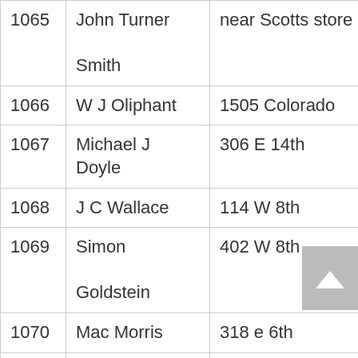| # | Name | Address | Ward |  |
| --- | --- | --- | --- | --- |
| 1065 | John Turner Smith | near Scotts store | 7 | W |
| 1066 | W J Oliphant | 1505 Colorado | 5 | W |
| 1067 | Michael J Doyle | 306 E 14th | 7 | W |
| 1068 | J C Wallace | 114 W 8th | 3 | W |
| 1069 | Simon Goldstein | 402 W 8th | 3 | W |
| 1070 | Mac Morris | 318 e 6th | 9 | W |
| 1071 | Emmett Paschal | 610 W 5th | 2 | W |
| 1072 | J S Browne | 1105 Red River | 8 | W |
| 1073 | Charles | Cor E11th &Sabine | 8 | W |